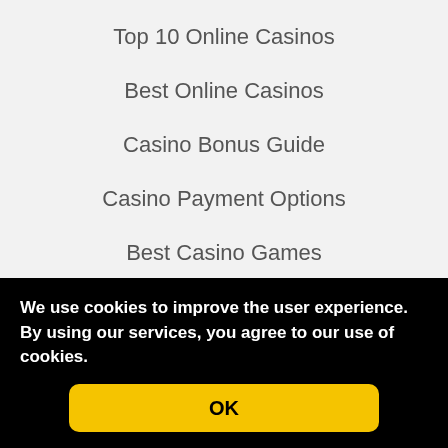Top 10 Online Casinos
Best Online Casinos
Casino Bonus Guide
Casino Payment Options
Best Casino Games
Best Casino Slots
We use cookies to improve the user experience. By using our services, you agree to our use of cookies.
OK